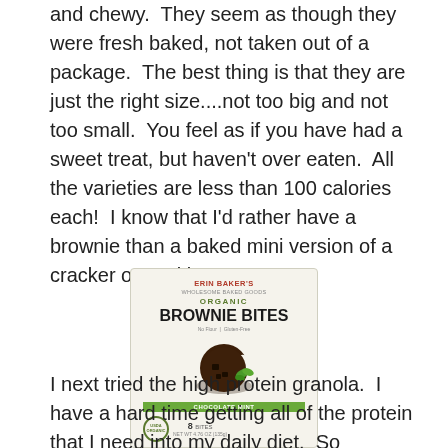and chewy.  They seem as though they were fresh baked, not taken out of a package.  The best thing is that they are just the right size....not too big and not too small.  You feel as if you have had a sweet treat, but haven't over eaten.  All the varieties are less than 100 calories each!  I know that I'd rather have a brownie than a baked mini version of a cracker or cookie!
[Figure (photo): Product box of Erin Baker's Organic Brownie Bites, showing the brand name, ORGANIC BROWNIE BITES text, a photo of a chocolate brownie bite, a green bar, USDA Organic seal, and 8 count label. Box has light cream/beige background.]
I next tried the high protein granola.  I have a hard time getting all of the protein that I need into my daily diet.  So anything that has a lot of protein